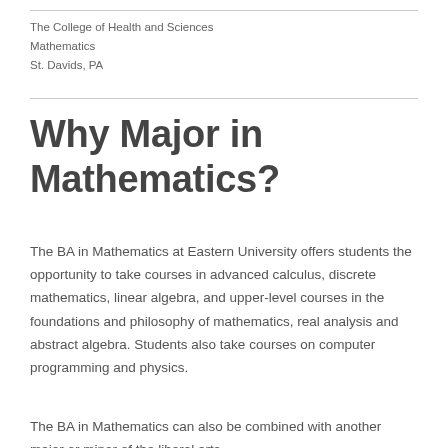The College of Health and Sciences
Mathematics
St. Davids, PA
Why Major in Mathematics?
The BA in Mathematics at Eastern University offers students the opportunity to take courses in advanced calculus, discrete mathematics, linear algebra, and upper-level courses in the foundations and philosophy of mathematics, real analysis and abstract algebra. Students also take courses on computer programming and physics.
The BA in Mathematics can also be combined with another major or minor of the liberal arts...